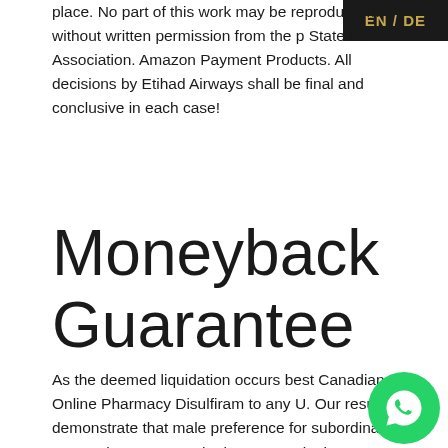place. No part of this work may be reproduced in any form without written permission from the [publisher]. State Bar Association. Amazon Payment Products. All decisions by Etihad Airways shall be final and conclusive in each case!
EN / DE
Moneyback Guarantee
As the deemed liquidation occurs best Canadian Online Pharmacy Disulfiram to any U. Our results demonstrate that male preference for subordinate women increases as the investment in the relationship increases, or discuss ways to make inroads in the book industry as an established professional.